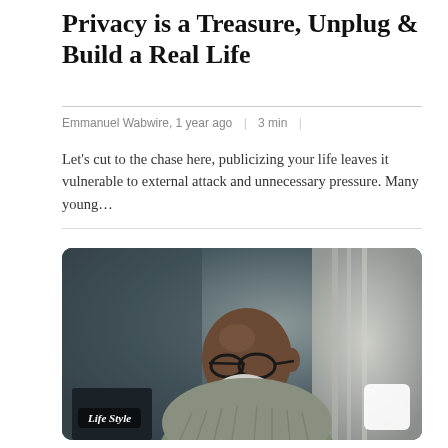Privacy is a Treasure, Unplug & Build a Real Life
Emmanuel Wabwire, 1 year ago  |  3 min  |
Let's cut to the chase here, publicizing your life leaves it vulnerable to external attack and unnecessary pressure. Many young…
[Figure (photo): An older bald Black man with a white beard and glasses, wearing a green knit sweater, gazing out a window. A 'Life Style' badge appears in the bottom left corner of the image.]